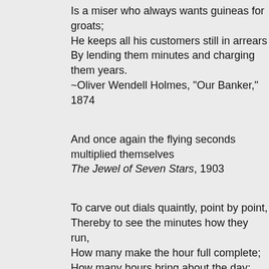Is a miser who always wants guineas for groats;
He keeps all his customers still in arrears
By lending them minutes and charging them years.
~Oliver Wendell Holmes, "Our Banker," 1874
And once again the flying seconds multiplied themselves
The Jewel of Seven Stars, 1903
To carve out dials quaintly, point by point,
Thereby to see the minutes how they run,
How many make the hour full complete;
How many hours bring about the day;
How many days will finish up the year;
How many years a mortal man may live.
~William Shakespeare, Henry VI, Part III, c.1590  [II, 5, k
And man watches his ingenious clock and his makeshift days, wondering where time goes. Cherishing life, meter and pieces, hoping thus to control it. ~Hal Borland
moments drift like smoke